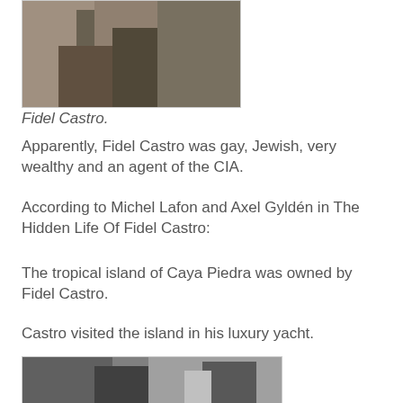[Figure (photo): Black and white photograph of Fidel Castro, partial body shot showing torso and legs in dark clothing]
Fidel Castro.
Apparently, Fidel Castro was gay, Jewish, very wealthy and an agent of the CIA.
According to Michel Lafon and Axel Gyldén in The Hidden Life Of Fidel Castro:
The tropical island of Caya Piedra was owned by Fidel Castro.
Castro visited the island in his luxury yacht.
[Figure (photo): Black and white photograph showing two people in an indoor setting, one shirtless]